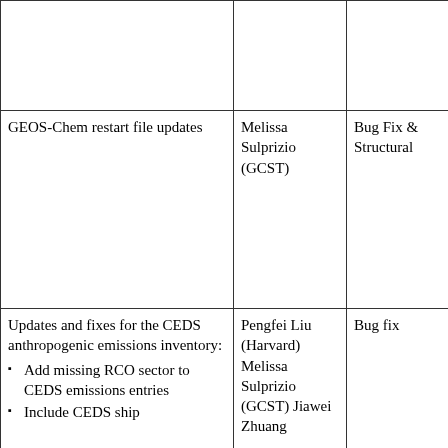| Description | Author | Type | Notes |
| --- | --- | --- | --- |
|  |  |  |  |
| GEOS-Chem restart file updates | Melissa Sulprizio (GCST) | Bug Fix & Structural | • ...
• ... |
| Updates and fixes for the CEDS anthropogenic emissions inventory:
• Add missing RCO sector to CEDS emissions entries
• Include CEDS ship | Pengfei Liu (Harvard)
Melissa Sulprizio (GCST)
Jiawei Zhuang | Bug fix | • T... |